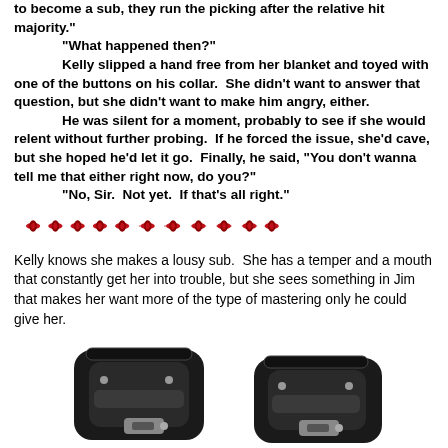to become a sub, they run the picking after the relative hit majority."
"What happened then?"
Kelly slipped a hand free from her blanket and toyed with one of the buttons on his collar.  She didn't want to answer that question, but she didn't want to make him angry, either.
He was silent for a moment, probably to see if she would relent without further probing.  If he forced the issue, she'd cave, but she hoped he'd let it go.  Finally, he said, "You don't wanna tell me that either right now, do you?"
"No, Sir.  Not yet.  If that's all right."
[Figure (illustration): Decorative horizontal divider made of red ornamental diamond/leaf shapes]
Kelly knows she makes a lousy sub.  She has a temper and a mouth that constantly get her into trouble, but she sees something in Jim that makes her want more of the type of mastering only he could give her.
[Figure (photo): Two black leather restraint cuffs with metal buckles and rings, shown against a white background]